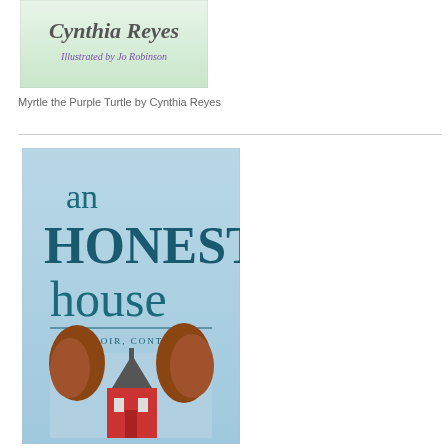[Figure (illustration): Book cover of 'Myrtle the Purple Turtle by Cynthia Reyes, Illustrated by Jo Robinson' — showing a green/teal illustrated background with cursive and serif title text]
Myrtle the Purple Turtle by Cynthia Reyes
[Figure (illustration): Book cover of 'an HONEST house — A Memoir, Continued' with light blue background, teal serif title text, and a photograph of a red church/house among autumn trees at the bottom]